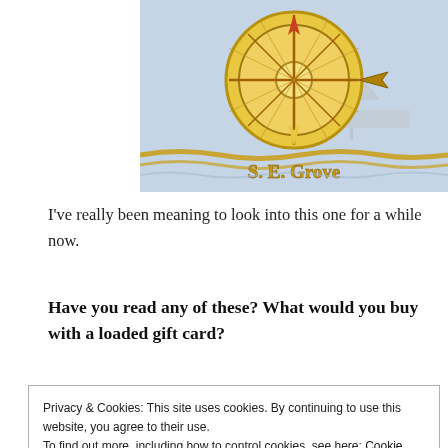[Figure (illustration): Book cover illustration showing a nautical compass rose in gold and a sailing ship in the background, with the text 'S. E. Grove' in gold lettering and decorative rope border]
I've really been meaning to look into this one for a while now.
Have you read any of these? What would you buy with a loaded gift card?
Privacy & Cookies: This site uses cookies. By continuing to use this website, you agree to their use.
To find out more, including how to control cookies, see here: Cookie Policy
Close and accept